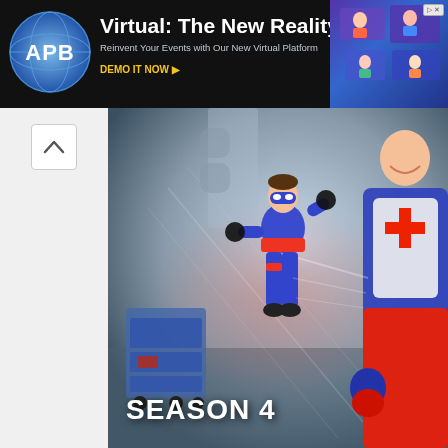[Figure (illustration): APB advertising banner: black background, APB globe logo on left, bold white text 'Virtual: The New Reality', subtitle 'Reinvent Your Events with Our New Virtual Platform', yellow CTA 'DEMO IT NOW', colorful virtual event illustration on right, small ad badge top-right corner]
[Figure (illustration): Season 4 promotional image showing two superhero characters in red and blue costumes in a dynamic action scene against a blurred futuristic background. Bold white text 'SEASON 4' in lower left corner.]